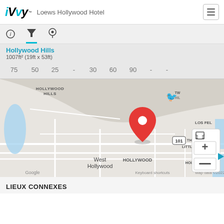iVvy™ Loews Hollywood Hotel
[Figure (screenshot): Navigation tabs: info (i), filter (funnel icon), location pin icon]
Hollywood Hills
1007ft² (19ft x 53ft)
75   50   25   -   30   60   90   -   -
[Figure (map): Google Maps screenshot showing Hollywood Hills area with a red location pin marker. Labels visible: HOLLYWOOD HILLS, West Hollywood, HOLLYWOOD, THAI TOWN, LITTLE ARMENIA, EAST HOLLYWOOD, LOS FEL. Route 101 shown. Google branding and map controls visible. Blue bird icon visible near top. Map data ©2022, Terms of Use, Keyboard shortcuts.]
LIEUX CONNEXES